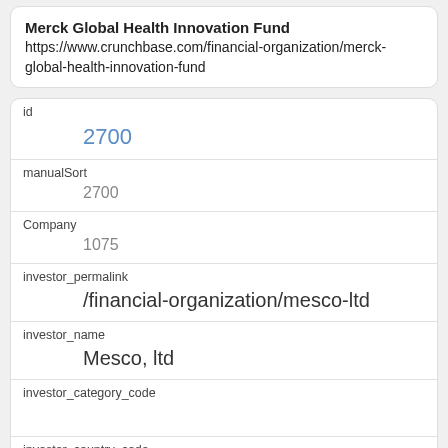Merck Global Health Innovation Fund
https://www.crunchbase.com/financial-organization/merck-global-health-innovation-fund
| id | 2700 |
| manualSort | 2700 |
| Company | 1075 |
| investor_permalink | /financial-organization/mesco-ltd |
| investor_name | Mesco, ltd |
| investor_category_code |  |
| investor_country_code | USA |
| investor_state_code |  |